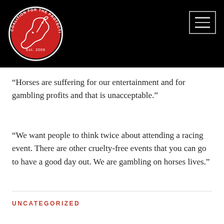[Figure (logo): Coalition for the Protection of Racehorses circular logo — red background with white horse head silhouette, black border with text around the ring, Est. 2008 at bottom]
“Horses are suffering for our entertainment and for gambling profits and that is unacceptable.”
“We want people to think twice about attending a racing event. There are other cruelty-free events that you can go to have a good day out. We are gambling on horses lives.”
UNCATEGORIZED